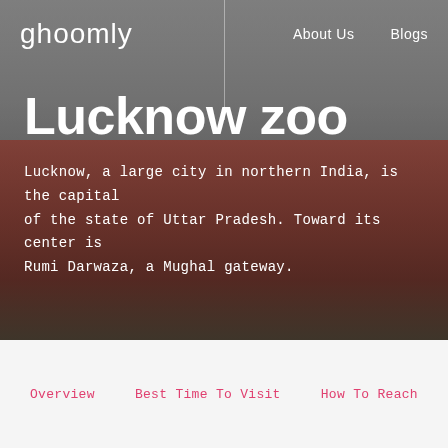ghoomly   About Us   Blogs
[Figure (photo): Hero image of a red Mughal-style building (Lucknow zoo area) with crowd and palm trees, overlaid with dark semi-transparent gradient]
Lucknow zoo
Lucknow, a large city in northern India, is the capital of the state of Uttar Pradesh. Toward its center is Rumi Darwaza, a Mughal gateway.
Overview
Best Time To Visit
How To Reach